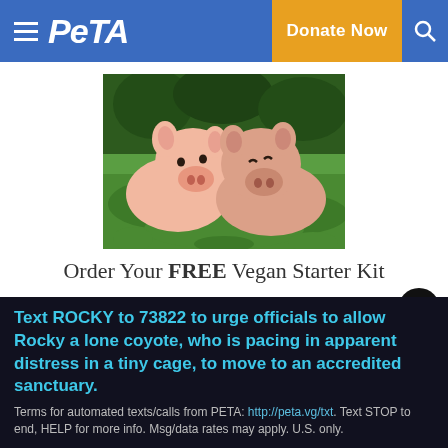PETA | Donate Now
[Figure (photo): Two pink piglets lying together on green grass, looking at the camera]
Order Your FREE Vegan Starter Kit
SEND ME A VEGAN STARTER KIT
Text ROCKY to 73822 to urge officials to allow Rocky a lone coyote, who is pacing in apparent distress in a tiny cage, to move to an accredited sanctuary.
Terms for automated texts/calls from PETA: http://peta.vg/txt. Text STOP to end, HELP for more info. Msg/data rates may apply. U.S. only.